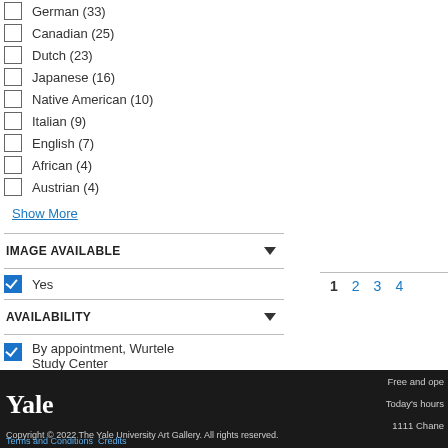German (33)
Canadian (25)
Dutch (23)
Japanese (16)
Native American (10)
Italian (9)
English (7)
African (4)
Austrian (4)
Show More
IMAGE AVAILABLE
Yes
AVAILABILITY
By appointment, Wurtele Study Center
1  2  3  4
Yale
Copyright © 2022 The Yale University Art Gallery. All rights reserved.
Terms and Conditions  Credits
Free and ope
Today's hours
1111 Chane